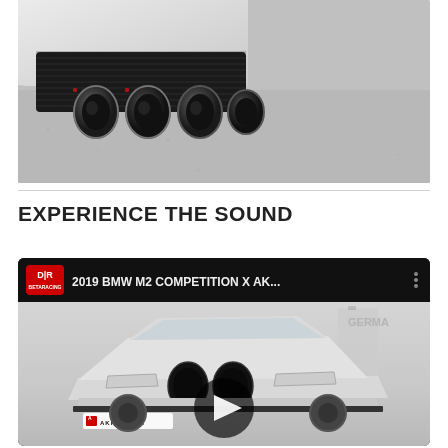[Figure (photo): Close-up photo of BMW exhaust tips with carbon fiber diffuser on grey pavement background]
EXPERIENCE THE SOUND
[Figure (screenshot): YouTube video thumbnail showing 2019 BMW M2 Competition with Akrapovic exhaust, video title: '2019 BMW M2 COMPETITION X AK...' with DR Racing logo, play button overlay]